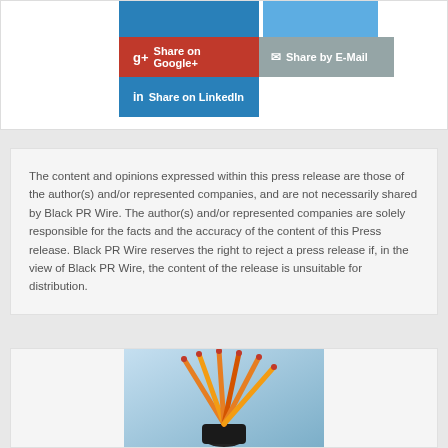[Figure (screenshot): Social share buttons: Share on Google+, Share by E-Mail, Share on LinkedIn]
The content and opinions expressed within this press release are those of the author(s) and/or represented companies, and are not necessarily shared by Black PR Wire. The author(s) and/or represented companies are solely responsible for the facts and the accuracy of the content of this Press release. Black PR Wire reserves the right to reject a press release if, in the view of Black PR Wire, the content of the release is unsuitable for distribution.
[Figure (photo): Photo of electrical wires/cables bundled together against a light blue background]